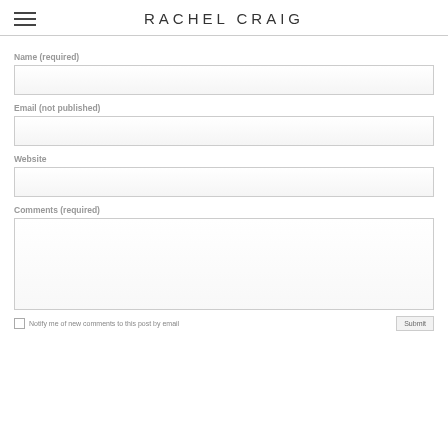RACHEL CRAIG
Name (required)
Email (not published)
Website
Comments (required)
Notify me of new comments to this post by email